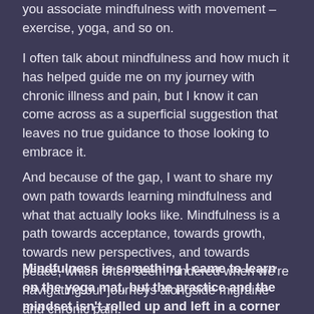you associate mindfulness with movement – exercise, yoga, and so on.
I often talk about mindfulness and how much it has helped guide me on my journey with chronic illness and pain, but I know it can come across as a superficial suggestion that leaves no true guidance to those looking to embrace it.
And because of the gap, I want to share my own path towards learning mindfulness and what that actually looks like. Mindfulness is a path towards acceptance, towards growth, towards new perspectives, and towards peace, which often seem hindered when we're navigating our journeys alongside migraine and chronic pain.
Mindfulness is something I came to learn on the yoga mat, but the practice and the mindset isn't rolled up and left in a corner once I'm done. It's something I learned to carry